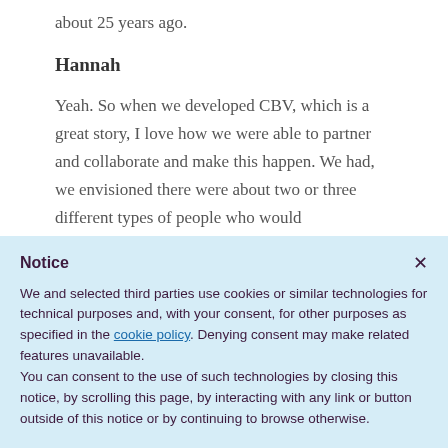about 25 years ago.
Hannah
Yeah. So when we developed CBV, which is a great story, I love how we were able to partner and collaborate and make this happen. We had, we envisioned there were about two or three different types of people who would
Notice
We and selected third parties use cookies or similar technologies for technical purposes and, with your consent, for other purposes as specified in the cookie policy. Denying consent may make related features unavailable.
You can consent to the use of such technologies by closing this notice, by scrolling this page, by interacting with any link or button outside of this notice or by continuing to browse otherwise.